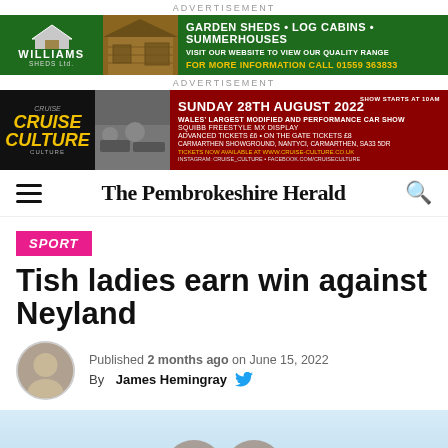ADVERTISEMENT
[Figure (illustration): Williams Sheds Ltd advertisement banner with logo, shed image, and text: GARDEN SHEDS • LOG CABINS • SUMMERHOUSES. VISIT OUR WEBSITE TO VIEW OUR QUALITY RANGE. FOR MORE INFORMATION CALL 01559 363833]
ADVERTISEMENT
[Figure (illustration): Cruise Culture car show advertisement. SUNDAY 28TH AUGUST 2022. WALES LARGEST MODIFIED AND PERFORMANCE CAR SHOW. SQUIBB FREESTYLE MX DISPLAY. ADVANCED TICKETS £6 • ON THE GATE TICKETS £8. CARMARTHEN SHOWGROUND, NANTYCI, CARMARTHEN, SA33 5DR. TICKETS NOW AVAILABLE AT WWW.CRUISE-CULTURE.CO.UK]
The Pembrokeshire Herald
SPORT
Tish ladies earn win against Neyland
Published 2 months ago on June 15, 2022
By James Hemingray
[Figure (photo): Partial photo visible at bottom of page showing outdoor scene with light blue sky]